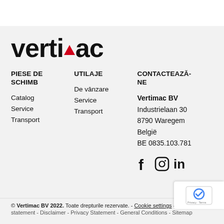[Figure (logo): Vertimac logo with red triangle replacing the 'i' dot in vertimac wordmark]
PIESE DE SCHIMB
Catalog
Service
Transport
UTILAJE
De vânzare
Service
Transport
CONTACTEAZĂ-NE
Vertimac BV
Industrielaan 30
8790 Waregem
België
BE 0835.103.781
[Figure (illustration): Social media icons: Facebook, Instagram, LinkedIn]
© Vertimac BV 2022. Toate drepturile rezervate. - Cookie settings - Privacy statement - Disclaimer - Privacy Statement - General Conditions - Sitemap